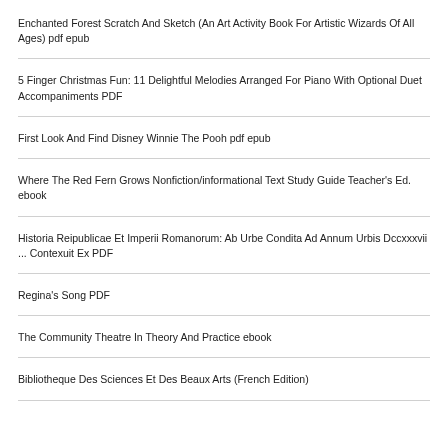Enchanted Forest Scratch And Sketch (An Art Activity Book For Artistic Wizards Of All Ages) pdf epub
5 Finger Christmas Fun: 11 Delightful Melodies Arranged For Piano With Optional Duet Accompaniments PDF
First Look And Find Disney Winnie The Pooh pdf epub
Where The Red Fern Grows Nonfiction/informational Text Study Guide Teacher's Ed. ebook
Historia Reipublicae Et Imperii Romanorum: Ab Urbe Condita Ad Annum Urbis Dccxxxvii ... Contexuit Ex PDF
Regina's Song PDF
The Community Theatre In Theory And Practice ebook
Bibliotheque Des Sciences Et Des Beaux Arts (French Edition)